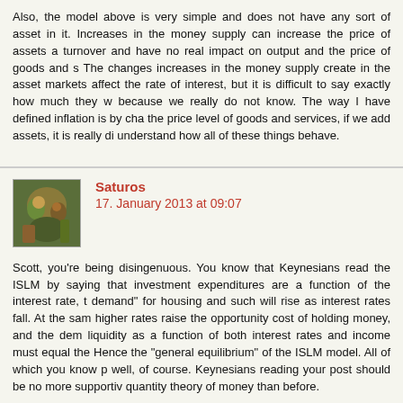Also, the model above is very simple and does not have any sort of asset in it. Increases in the money supply can increase the price of assets a turnover and have no real impact on output and the price of goods and s The changes increases in the money supply create in the asset markets affect the rate of interest, but it is difficult to say exactly how much they w because we really do not know. The way I have defined inflation is by cha the price level of goods and services, if we add assets, it is really di understand how all of these things behave.
[Figure (photo): Avatar image of commenter Saturos]
Saturos
17. January 2013 at 09:07
Scott, you're being disingenuous. You know that Keynesians read the ISLM by saying that investment expenditures are a function of the interest rate, t demand" for housing and such will rise as interest rates fall. At the sam higher rates raise the opportunity cost of holding money, and the dem liquidity as a function of both interest rates and income must equal the Hence the "general equilibrium" of the ISLM model. All of which you know p well, of course. Keynesians reading your post should be no more supportiv quantity theory of money than before.
Nice comment on Woodford, though. But surely the quantity of reser matters even without currency, indeed it matters even more, as you pointe me earlier.